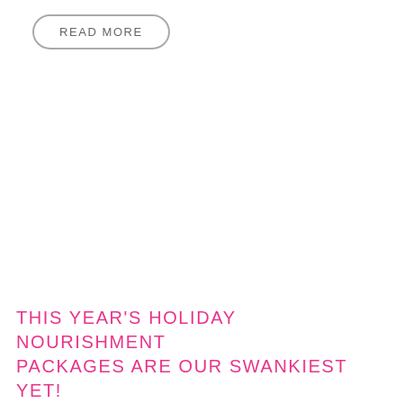READ MORE
THIS YEAR'S HOLIDAY NOURISHMENT PACKAGES ARE OUR SWANKIEST YET!